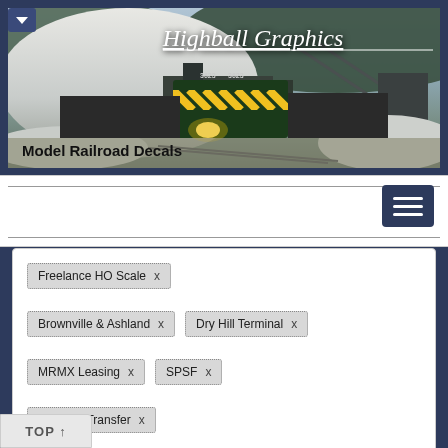[Figure (photo): Banner header photo showing a green and yellow diesel locomotive (numbered 3623) pulling freight cars through a snowy industrial scene with large snow/gravel piles and conveyors in background. 'Highball Graphics' cursive italic logo in white overlaid on upper right, 'Model Railroad Decals' bold text overlaid on lower left.]
Highball Graphics — Model Railroad Decals
Freelance HO Scale  x
Brownville & Ashland  x
Dry Hill Terminal  x
MRMX Leasing  x
SPSF  x
Superior Transfer  x
TOP ↑